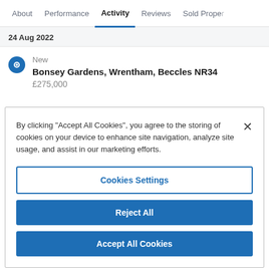About  Performance  Activity  Reviews  Sold Properties
24 Aug 2022
New
Bonsey Gardens, Wrentham, Beccles NR34
£275,000
By clicking “Accept All Cookies”, you agree to the storing of cookies on your device to enhance site navigation, analyze site usage, and assist in our marketing efforts.
Cookies Settings
Reject All
Accept All Cookies